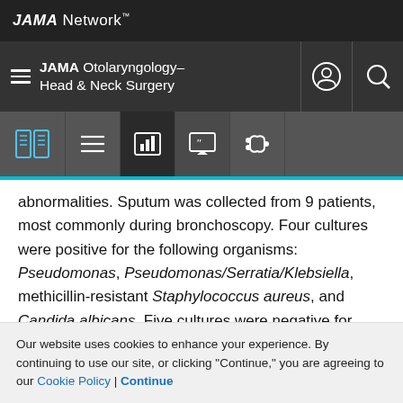JAMA Network
JAMA Otolaryngology–Head & Neck Surgery
abnormalities. Sputum was collected from 9 patients, most commonly during bronchoscopy. Four cultures were positive for the following organisms: Pseudomonas, Pseudomonas/Serratia/Klebsiella, methicillin-resistant Staphylococcus aureus, and Candida albicans. Five cultures were negative for bacterial, fungal, and mycobacterial organisms. Bronchoalveolar lavage was performed in 2 patients; the presence of hemosiderin-laden macrophages
Our website uses cookies to enhance your experience. By continuing to use our site, or clicking "Continue," you are agreeing to our Cookie Policy | Continue